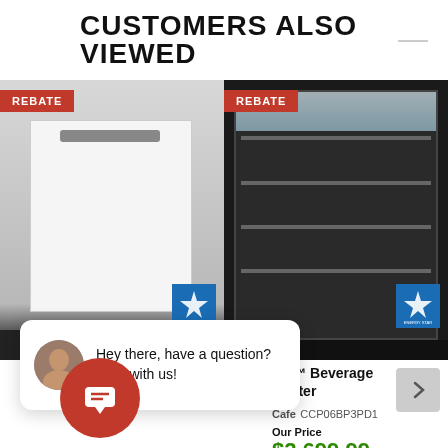CUSTOMERS ALSO VIEWED
[Figure (photo): White dishwasher with REBATE badge and ENERGY STAR logo]
[Figure (photo): Café Beverage Center refrigerator with glass door, REBATE badge, and ENERGY STAR logo]
afé™ Beverage Center
Cafe CCP06BP3PD1
Our Price
$2,699.99
Hey there, have a question? Chat with us!
Our Price
09.99